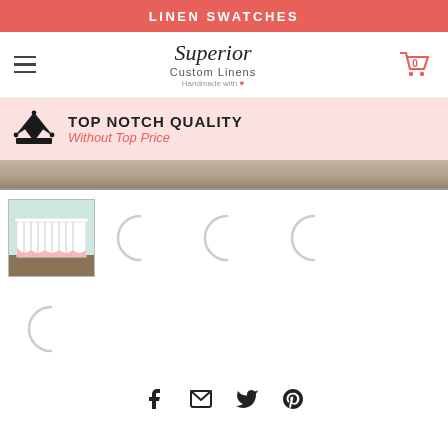LINEN SWATCHES
Superior Custom Linens — Handmade with love
TOP NOTCH QUALITY — Without Top Price
[Figure (photo): Photo of a white baby crib with pink ruffled crib skirt bedding on a wood floor]
[Figure (photo): Thumbnail of crib with pink linen bedding]
[Figure (other): Loading spinner arc placeholder]
[Figure (other): Loading spinner arc placeholder]
[Figure (other): Loading spinner arc placeholder]
[Figure (other): Loading spinner arc placeholder]
Social share icons: Facebook, Email, Twitter, Pinterest